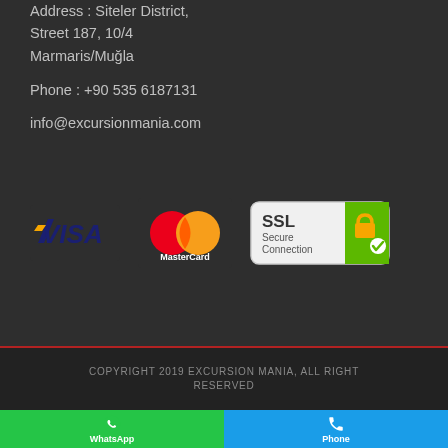Address : Siteler District, Street 187, 10/4 Marmaris/Muğla
Phone : +90 535 6187131
info@excursionmania.com
[Figure (logo): VISA, MasterCard, and SSL Secure Connection payment logos]
COPYRIGHT 2019 EXCURSION MANIA, ALL RIGHT RESERVED
WhatsApp
Phone